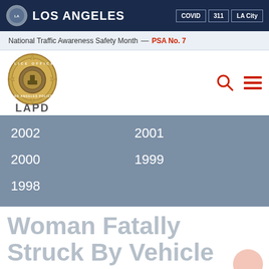LOS ANGELES | COVID | 311 | LA City
National Traffic Awareness Safety Month — PSA No. 7
[Figure (logo): LAPD Police Officer badge logo with 'LAPD' text below]
2002
2001
2000
1999
1998
Woman Fatally Struck By Vehicle After Argument NR18074+...